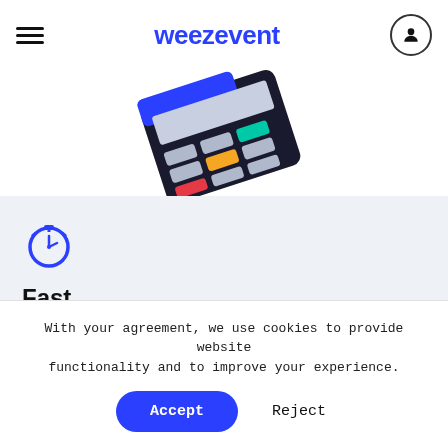weezevent
[Figure (illustration): Partial view of a colorful point-of-sale terminal device tilted at an angle, showing a blue card reader slot and a keypad with colored buttons (red, yellow, teal, grey).]
[Figure (illustration): Blue stopwatch/timer icon]
Fast
Reduce waiting times at points of sale using
With your agreement, we use cookies to provide website functionality and to improve your experience.
Accept
Reject